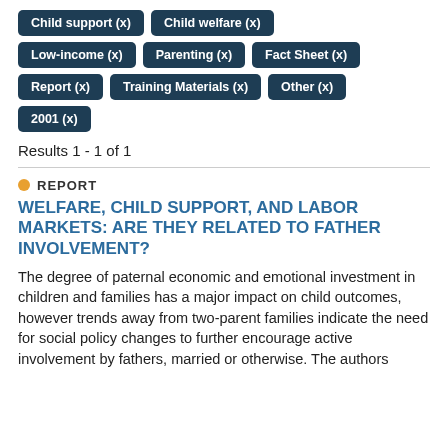Child support (x)
Child welfare (x)
Low-income (x)
Parenting (x)
Fact Sheet (x)
Report (x)
Training Materials (x)
Other (x)
2001 (x)
Results 1 - 1 of 1
REPORT
WELFARE, CHILD SUPPORT, AND LABOR MARKETS: ARE THEY RELATED TO FATHER INVOLVEMENT?
The degree of paternal economic and emotional investment in children and families has a major impact on child outcomes, however trends away from two-parent families indicate the need for social policy changes to further encourage active involvement by fathers, married or otherwise. The authors